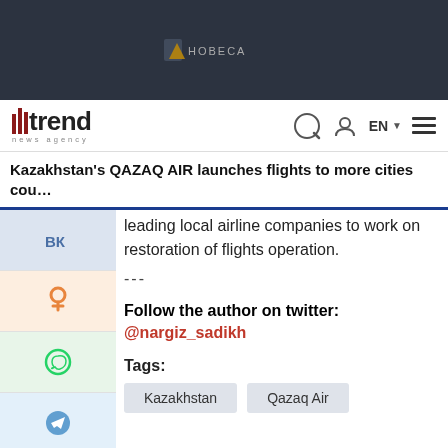[Figure (screenshot): Dark banner advertisement area with a news agency logo and Cyrillic text 'НОВЕСA' on dark background]
trend news agency | search | user | EN | menu
Kazakhstan's QAZAQ AIR launches flights to more cities cou…
leading local airline companies to work on restoration of flights operation.
---
Follow the author on twitter: @nargiz_sadikh
Tags:
Kazakhstan
Qazaq Air